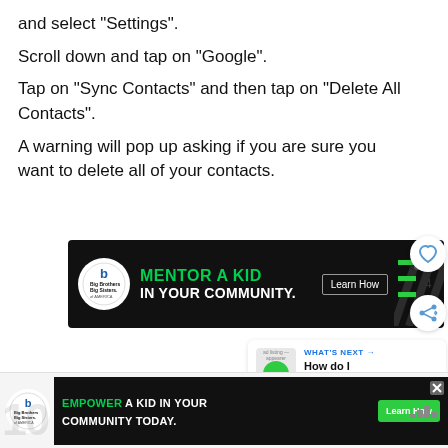and select “Settings”.
Scroll down and tap on “Google”.
Tap on “Sync Contacts” and then tap on “Delete All Contacts”.
A warning will pop up asking if you are sure you want to delete all of your contacts.
[Figure (screenshot): Advertisement banner for Big Brothers Big Sisters: MENTOR A KID IN YOUR COMMUNITY. Learn How button. Close X button. Decorative diagonal stripes.]
[Figure (screenshot): What's Next panel showing: WHAT'S NEXT arrow label in blue, text 'How do I delete my...' with green chat icon thumbnail.]
[Figure (screenshot): Bottom advertisement banner for Big Brothers Big Sisters: EMPOWER A KID IN YOUR COMMUNITY TODAY. Learn How green button. Close X. Weather icon and background logo visible.]